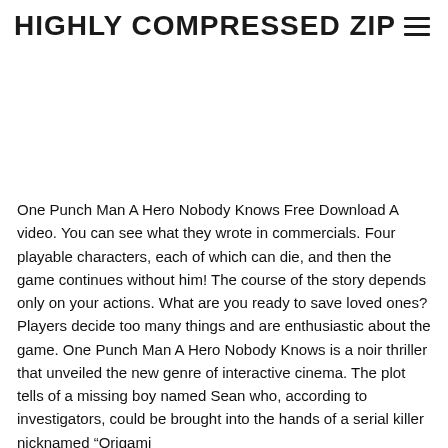HIGHLY COMPRESSED ZIP
One Punch Man A Hero Nobody Knows Free Download A video. You can see what they wrote in commercials. Four playable characters, each of which can die, and then the game continues without him! The course of the story depends only on your actions. What are you ready to save loved ones? Players decide too many things and are enthusiastic about the game. One Punch Man A Hero Nobody Knows is a noir thriller that unveiled the new genre of interactive cinema. The plot tells of a missing boy named Sean who, according to investigators, could be brought into the hands of a serial killer nicknamed “Origami